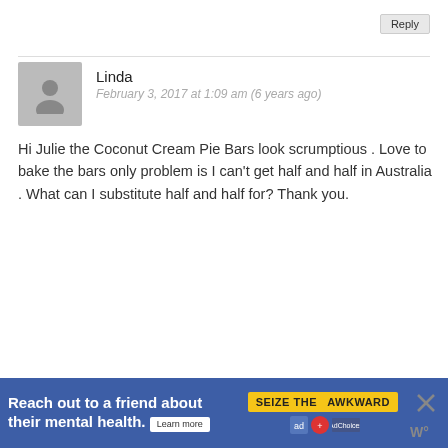Reply
Linda
February 3, 2017 at 1:09 am (6 years ago)
Hi Julie the Coconut Cream Pie Bars look scrumptious . Love to bake the bars only problem is I can't get half and half in Australia . What can I substitute half and half for? Thank you.
Reply
Julie Ruble
April 17, 2017 at 4:53 pm (5 years ago)
Hi Linda! Here's a recipe:
https://www.thebalance.com/half-and-half-substitute-1388922
[Figure (other): Advertisement banner: 'Reach out to a friend about their mental health. Learn more' with 'SEIZE THE AWKWARD' yellow badge and close button]